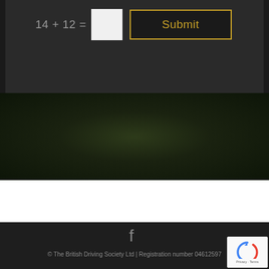14 + 12 =
Submit
[Figure (photo): Dark green grass texture background]
© The British Driving Society Ltd | Registration number 04612597